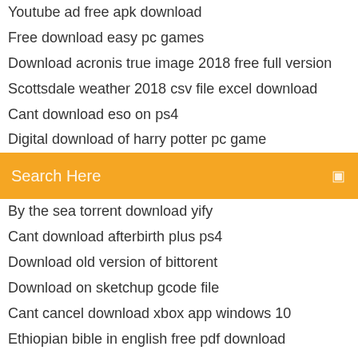Youtube ad free apk download
Free download easy pc games
Download acronis true image 2018 free full version
Scottsdale weather 2018 csv file excel download
Cant download eso on ps4
Digital download of harry potter pc game
[Figure (screenshot): Orange search bar with text 'Search Here' and a search icon on the right]
By the sea torrent download yify
Cant download afterbirth plus ps4
Download old version of bittorent
Download on sketchup gcode file
Cant cancel download xbox app windows 10
Ethiopian bible in english free pdf download
Unofficial guide to radiology pdf free download
How to download asus usb driver
Java download for firefox 64 bit version
Book wont download on amazon kindle app